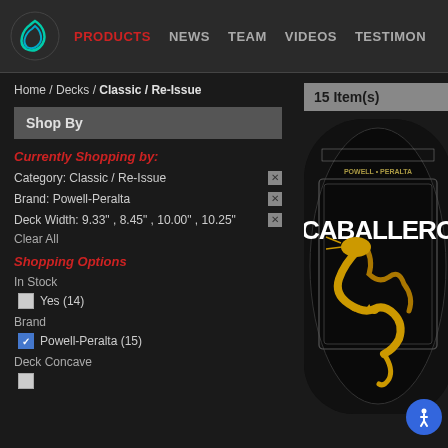PRODUCTS | NEWS | TEAM | VIDEOS | TESTIMONIALS
Home / Decks / Classic / Re-Issue
Shop By
Currently Shopping by:
Category: Classic / Re-Issue
Brand: Powell-Peralta
Deck Width: 9.33" , 8.45" , 10.00" , 10.25"
Clear All
Shopping Options
In Stock
Yes (14)
Brand
Powell-Peralta (15)
Deck Concave
15 Item(s)
[Figure (photo): Skateboard deck - Powell Peralta Caballero with dragon design on black background]